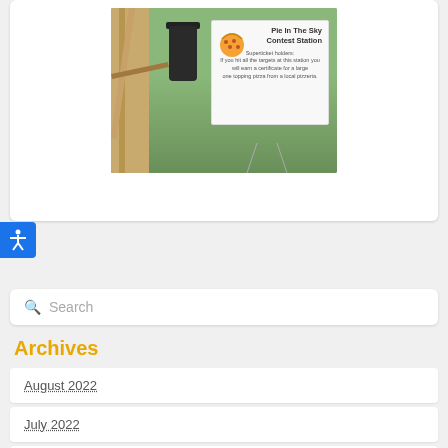[Figure (photo): Outdoor photo showing a wooden structure, black trash can, and a 'Pie In The Sky Contest Station' sign on grass. The sign features a cookie/pie graphic and text about superticket holders winning a certificate for a large one-topping pizza from a local pizzeria.]
[Figure (illustration): Blue accessibility icon button with white stick figure with arms out]
Search
Archives
August 2022
July 2022
June 2022